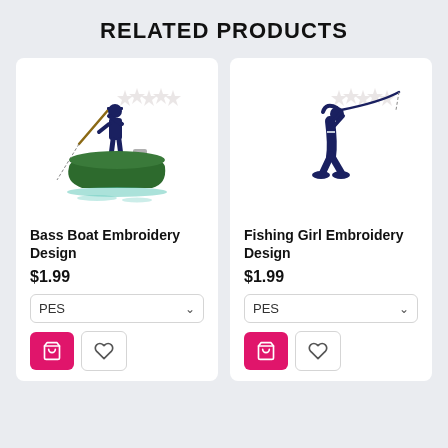RELATED PRODUCTS
[Figure (illustration): Embroidery design of a man standing on a green bass boat fishing, with teal water reflections]
Bass Boat Embroidery Design
$1.99
[Figure (illustration): Embroidery design of a woman (fishing girl) holding a bent fishing rod, dark navy silhouette]
Fishing Girl Embroidery Design
$1.99